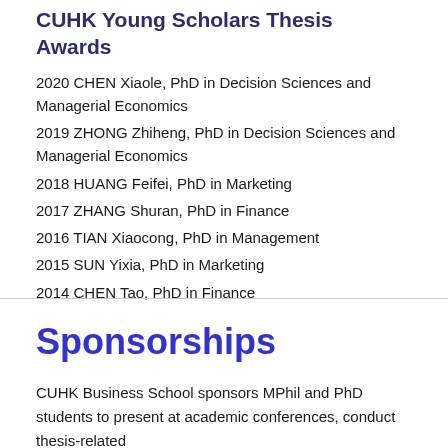CUHK Young Scholars Thesis Awards
2020 CHEN Xiaole, PhD in Decision Sciences and Managerial Economics
2019 ZHONG Zhiheng, PhD in Decision Sciences and Managerial Economics
2018 HUANG Feifei, PhD in Marketing
2017 ZHANG Shuran, PhD in Finance
2016 TIAN Xiaocong, PhD in Management
2015 SUN Yixia, PhD in Marketing
2014 CHEN Tao, PhD in Finance
Sponsorships
CUHK Business School sponsors MPhil and PhD students to present at academic conferences, conduct thesis-related